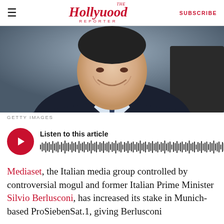The Hollywood Reporter | SUBSCRIBE
[Figure (photo): A smiling man in a dark suit and tie, photographed outdoors near a dark vehicle.]
GETTY IMAGES
[Figure (other): Audio player widget with red circular play button and waveform visualization. Listen to this article.]
Mediaset, the Italian media group controlled by controversial mogul and former Italian Prime Minister Silvio Berlusconi, has increased its stake in Munich-based ProSiebenSat.1, giving Berlusconi